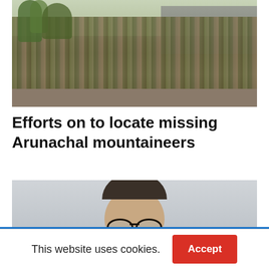[Figure (photo): Large group of soldiers in camouflage uniforms standing in formation outdoors, with military trucks and trees visible in the background on a grey/overcast day.]
Efforts on to locate missing Arunachal mountaineers
[Figure (photo): Close-up photo of a man wearing glasses, seated and speaking into a microphone, with a grey/neutral background.]
This website uses cookies.